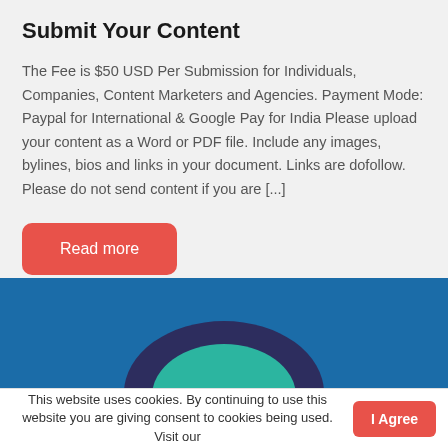Submit Your Content
The Fee is $50 USD Per Submission for Individuals, Companies, Content Marketers and Agencies. Payment Mode: Paypal for International & Google Pay for India Please upload your content as a Word or PDF file. Include any images, bylines, bios and links in your document. Links are dofollow. Please do not send content if you are [...]
Read more
[Figure (illustration): Blue background with overlapping circular shapes in dark purple and teal/green at the bottom center]
This website uses cookies. By continuing to use this website you are giving consent to cookies being used. Visit our
I Agree